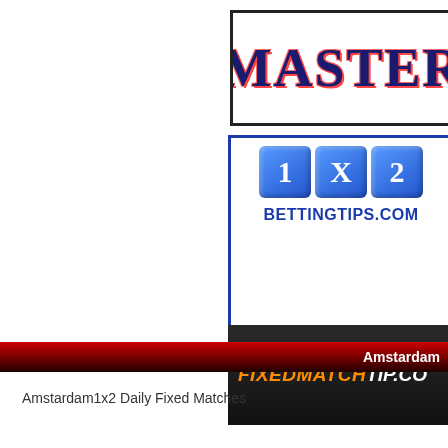[Figure (logo): MASTER logo banner with dark blue text and red glow on white background with black border, partially cropped on right]
[Figure (logo): 1X2 BETTINGTIPS.COM logo with blue 3D dice blocks showing 1, X, 2 on white background with blue border]
[Figure (logo): FIXEDMATCHTIP.CO banner with orange and white bold italic text on dark/black background]
Amstardam
Amstardam1x2 Daily Fixed Matches